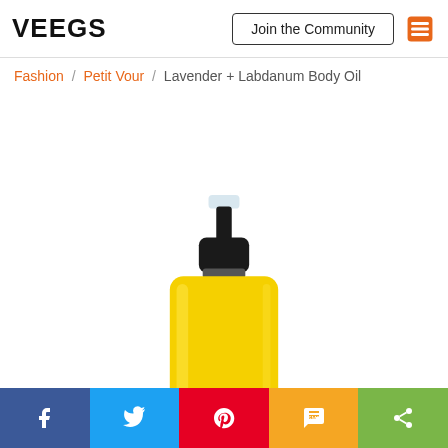VEEGS | Join the Community
Fashion / Petit Vour / Lavender + Labdanum Body Oil
[Figure (photo): A glass spray bottle of Lavender + Labdanum Body Oil by Little Barn, filled with yellow oil, with a black pump sprayer on top. The bottle has a black label with a barn icon and 'little barn' text in white.]
Facebook | Twitter | Pinterest | SMS | Share